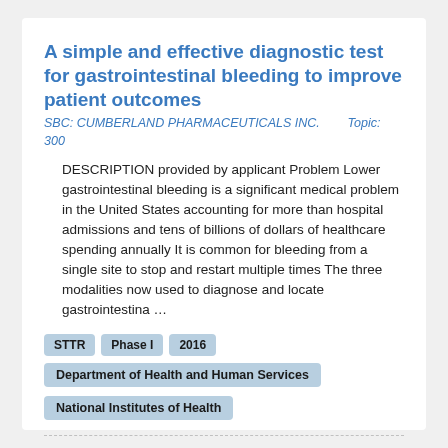A simple and effective diagnostic test for gastrointestinal bleeding to improve patient outcomes
SBC: CUMBERLAND PHARMACEUTICALS INC.        Topic: 300
DESCRIPTION provided by applicant Problem Lower gastrointestinal bleeding is a significant medical problem in the United States accounting for more than hospital admissions and tens of billions of dollars of healthcare spending annually It is common for bleeding from a single site to stop and restart multiple times The three modalities now used to diagnose and locate gastrointestina ...
STTR
Phase I
2016
Department of Health and Human Services
National Institutes of Health